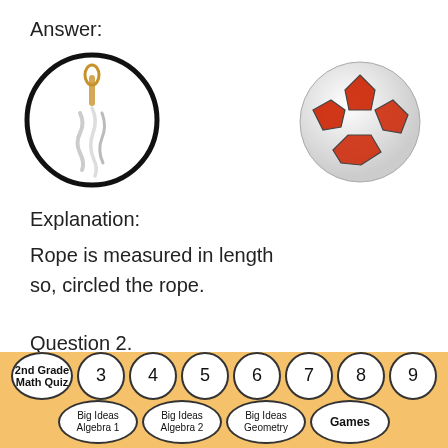Answer:
[Figure (illustration): A rope with a black circle drawn around it]
[Figure (illustration): A red and white soccer ball]
Explanation:
Rope is measured in length so, circled the rope.
Question 2.
[Figure (illustration): A green ball, partially visible at bottom left]
[Figure (illustration): A red backpack with math books visible, partially cut off at bottom right]
2nd Grade Math Quiz  3  4  5  6  7  8  9  Big Ideas Algebra 1  Big Ideas Algebra 2  Big Ideas Geometry  Games